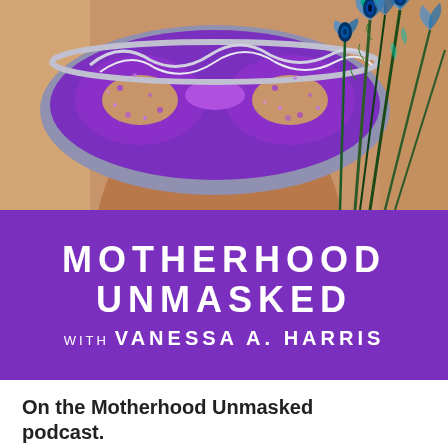[Figure (photo): Woman holding a decorative purple and blue masquerade mask with peacock feathers in front of her face]
[Figure (infographic): Purple banner with white bold text reading MOTHERHOOD UNMASKED, with subtitle WITH VANESSA A. HARRIS]
On the Motherhood Unmasked podcast.
Compassion, candor, and clarity for the